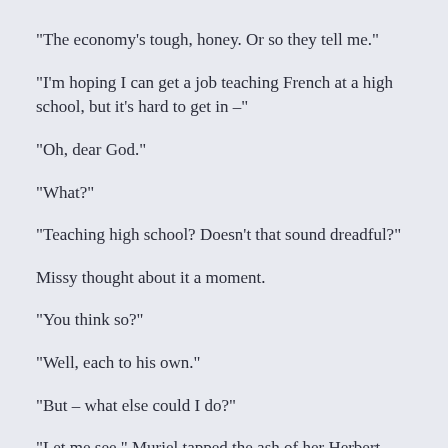“The economy’s tough, honey. Or so they tell me.”
“I’m hoping I can get a job teaching French at a high school, but it’s hard to get in –”
“Oh, dear God.”
“What?”
“Teaching high school? Doesn’t that sound dreadful?”
Missy thought about it a moment.
“You think so?”
“Well, each to his own.”
“But – what else could I do?”
“Let me see.” Muriel tapped the ash of her Herbert Tareyton into the ashtray. She must have smoked at